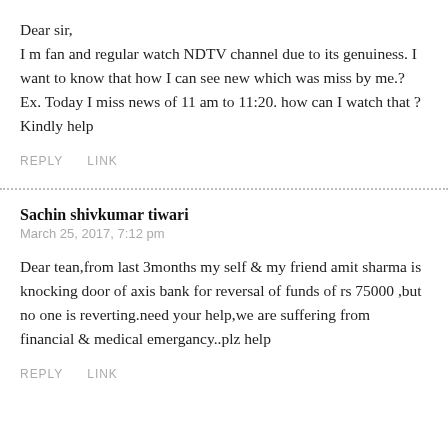Dear sir,
I m fan and regular watch NDTV channel due to its genuiness. I want to know that how I can see new which was miss by me.? Ex. Today I miss news of 11 am to 11:20. how can I watch that ? Kindly help
REPLY   LINK
Sachin shivkumar tiwari
March 25, 2017, 7:12 pm
Dear tean,from last 3months my self & my friend amit sharma is knocking door of axis bank for reversal of funds of rs 75000 ,but no one is reverting.need your help,we are suffering from financial & medical emergancy..plz help
REPLY   LINK